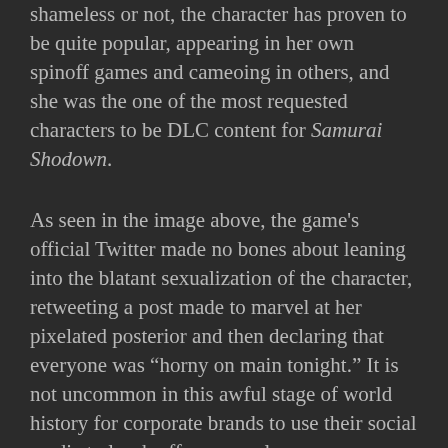shameless or not, the character has proven to be quite popular, appearing in her own spinoff games and cameoing in others, and she was the one of the most requested characters to be DLC content for Samurai Shodown.
As seen in the image above, the game's official Twitter made no bones about leaning into the blatant sexualization of the character, retweeting a post made to marvel at her pixelated posterior and then declaring that everyone was "horny on main tonight." It is not uncommon in this awful stage of world history for corporate brands to use their social media to leech off any popular meme or pop culture jargon to sell their product,